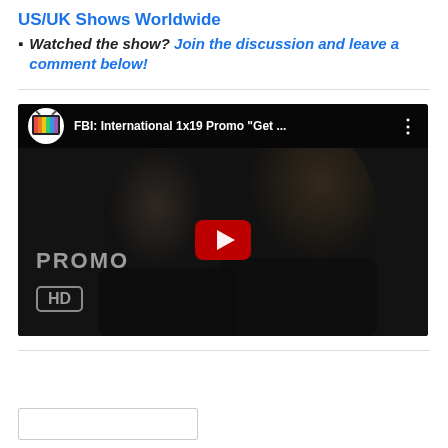US/UK Shows Worldwide
Watched the show? Join the discussion and leave a comment below!
[Figure (screenshot): YouTube video thumbnail for 'FBI: International 1x19 Promo "Get ..."' showing two people in dark setting with PROMO HD overlay and YouTube play button.]